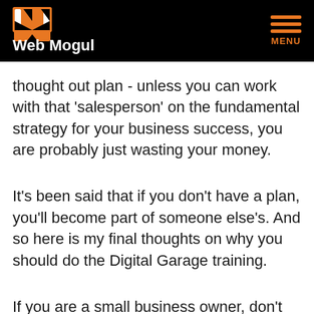WebMogul
thought out plan - unless you can work with that 'salesperson' on the fundamental strategy for your business success, you are probably just wasting your money.
It's been said that if you don't have a plan, you'll become part of someone else's. And so here is my final thoughts on why you should do the Digital Garage training.
If you are a small business owner, don't do the Google 'Digital Garage' training if